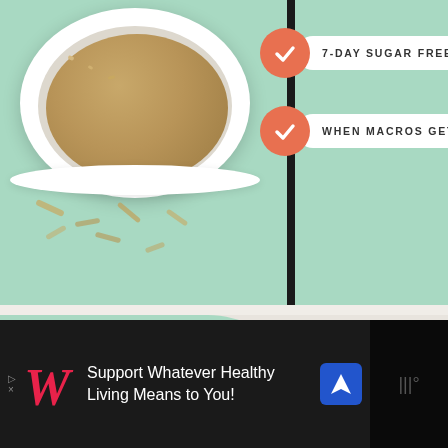[Figure (photo): Top section with bowl of oatmeal/cereal on left and mint green background on right, with two checklist items]
7-DAY SUGAR FREE PLAN
WHEN MACROS GET BOOZY
[Figure (infographic): DIY PROGRAMS card with mint green background and salad bowl photo, text 'WHICH PROGRAM IS RIGHT FOR YOU?']
DIY
PROGRAMS
WHICH PROGRAM IS RIGHT FOR YOU?
17
ROTS  WHAT'S NEXT → Blog
[Figure (photo): Advertisement: Support Whatever Healthy Living Means to You! - Walgreens ad with navigation logo]